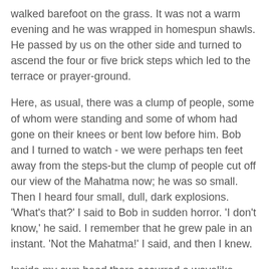walked barefoot on the grass. It was not a warm evening and he was wrapped in homespun shawls. He passed by us on the other side and turned to ascend the four or five brick steps which led to the terrace or prayer-ground.
Here, as usual, there was a clump of people, some of whom were standing and some of whom had gone on their knees or bent low before him. Bob and I turned to watch - we were perhaps ten feet away from the steps-but the clump of people cut off our view of the Mahatma now; he was so small. Then I heard four small, dull, dark explosions. 'What's that?' I said to Bob in sudden horror. 'I don't know,' he said. I remember that he grew pale in an instant. 'Not the Mahatma!' I said, and then I knew.
Inside my own head there occurred a wavelike disturbance which I can only compare to a storm at sea - wind and wave surging tremendously back and forth. I remember all this distinctly; I do not believe that I lost consciousness even for a moment, although there may have been an instant or two of half-consciousness. I recoiled upon the brick wall and leaned